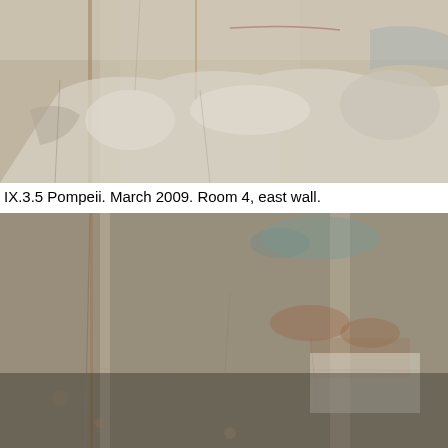[Figure (photo): Photograph of a deteriorated ancient wall fresco/plaster surface in Pompeii, Room 4, east wall. The surface shows significant weathering with cracked and flaking plaster, pale beige and grey tones with areas of exposed substrate.]
IX.3.5 Pompeii. March 2009. Room 4, east wall.
[Figure (photo): Second photograph of the same or adjacent wall area in Pompeii Room 4, east wall. Shows a wider view of the deteriorated plaster surface with beige/tan tones, visible cracks, staining, and remnants of painted decoration including some bluish-green pigment at top center.]